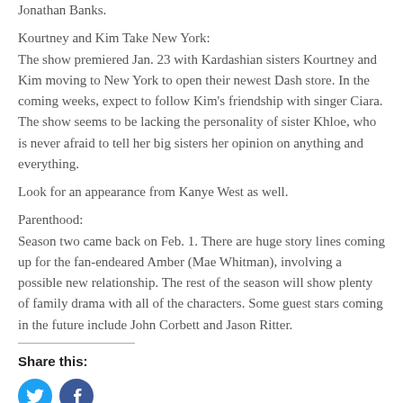Jonathan Banks.
Kourtney and Kim Take New York:
The show premiered Jan. 23 with Kardashian sisters Kourtney and Kim moving to New York to open their newest Dash store. In the coming weeks, expect to follow Kim’s friendship with singer Ciara. The show seems to be lacking the personality of sister Khloe, who is never afraid to tell her big sisters her opinion on anything and everything.
Look for an appearance from Kanye West as well.
Parenthood:
Season two came back on Feb. 1. There are huge story lines coming up for the fan-endeared Amber (Mae Whitman), involving a possible new relationship. The rest of the season will show plenty of family drama with all of the characters. Some guest stars coming in the future include John Corbett and Jason Ritter.
Share this: